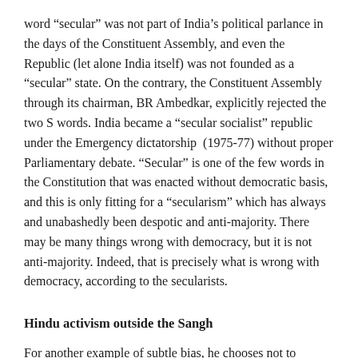word “secular” was not part of India’s political parlance in the days of the Constituent Assembly, and even the Republic (let alone India itself) was not founded as a “secular” state. On the contrary, the Constituent Assembly through its chairman, BR Ambedkar, explicitly rejected the two S words. India became a “secular socialist” republic under the Emergency dictatorship (1975-77) without proper Parliamentary debate. “Secular” is one of the few words in the Constitution that was enacted without democratic basis, and this is only fitting for a “secularism” which has always and unabashedly been despotic and anti-majority. There may be many things wrong with democracy, but it is not anti-majority. Indeed, that is precisely what is wrong with democracy, according to the secularists.
Hindu activism outside the Sangh
For another example of subtle bias, he chooses not to discuss the work of Sita Ram Goel, though he regularly uses it as a source.  He